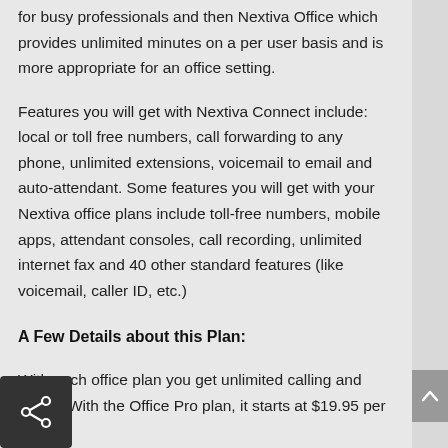for busy professionals and then Nextiva Office which provides unlimited minutes on a per user basis and is more appropriate for an office setting.
Features you will get with Nextiva Connect include: local or toll free numbers, call forwarding to any phone, unlimited extensions, voicemail to email and auto-attendant. Some features you will get with your Nextiva office plans include toll-free numbers, mobile apps, attendant consoles, call recording, unlimited internet fax and 40 other standard features (like voicemail, caller ID, etc.)
A Few Details about this Plan:
With each office plan you get unlimited calling and faxing. With the Office Pro plan, it starts at $19.95 per